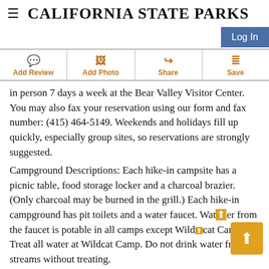CALIFORNIA STATE PARKS
Log In
Add Review | Add Photo | Share | Save
in person 7 days a week at the Bear Valley Visitor Center. You may also fax your reservation using our form and fax number: (415) 464-5149. Weekends and holidays fill up quickly, especially group sites, so reservations are strongly suggested.
Campground Descriptions: Each hike-in campsite has a picnic table, food storage locker and a charcoal brazier. (Only charcoal may be burned in the grill.) Each hike-in campground has pit toilets and a water faucet. Water from the faucet is potable in all camps except Wildcat Camp. Treat all water at Wildcat Camp. Do not drink water from streams without treating.